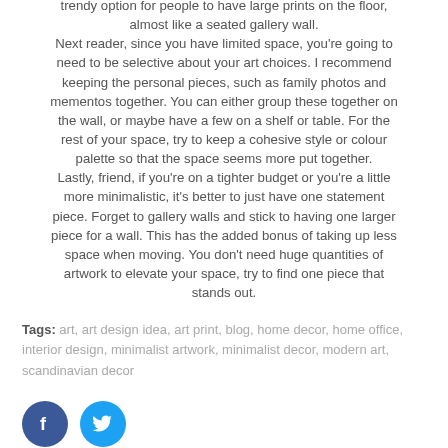trendy option for people to have large prints on the floor, almost like a seated gallery wall.
Next reader, since you have limited space, you're going to need to be selective about your art choices. I recommend keeping the personal pieces, such as family photos and mementos together. You can either group these together on the wall, or maybe have a few on a shelf or table. For the rest of your space, try to keep a cohesive style or colour palette so that the space seems more put together.
Lastly, friend, if you're on a tighter budget or you're a little more minimalistic, it's better to just have one statement piece. Forget to gallery walls and stick to having one larger piece for a wall. This has the added bonus of taking up less space when moving. You don't need huge quantities of artwork to elevate your space, try to find one piece that stands out.
Tags: art, art design idea, art print, blog, home decor, home office, interior design, minimalist artwork, minimalist decor, modern art, scandinavian decor
[Figure (other): Facebook and Twitter social media share icons (circular blue buttons with white f and bird logos)]